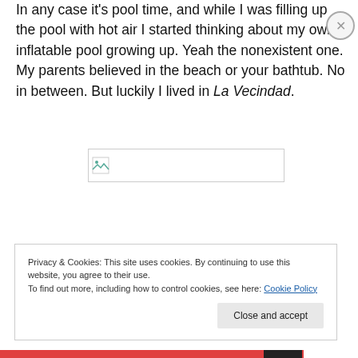regular pool and aren't a starving writer like myself.
In any case it's pool time, and while I was filling up the pool with hot air I started thinking about my own inflatable pool growing up. Yeah the nonexistent one. My parents believed in the beach or your bathtub. No in between. But luckily I lived in La Vecindad.
[Figure (photo): Broken image placeholder — a small image icon with a border rectangle]
Privacy & Cookies: This site uses cookies. By continuing to use this website, you agree to their use.
To find out more, including how to control cookies, see here: Cookie Policy